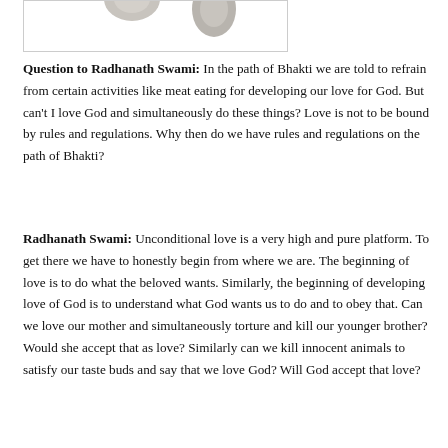[Figure (photo): Partial view of two small round objects (possibly stones or seeds) on a white background, cropped at top edge.]
Question to Radhanath Swami: In the path of Bhakti we are told to refrain from certain activities like meat eating for developing our love for God. But can't I love God and simultaneously do these things? Love is not to be bound by rules and regulations. Why then do we have rules and regulations on the path of Bhakti?
Radhanath Swami: Unconditional love is a very high and pure platform. To get there we have to honestly begin from where we are. The beginning of love is to do what the beloved wants. Similarly, the beginning of developing love of God is to understand what God wants us to do and to obey that. Can we love our mother and simultaneously torture and kill our younger brother? Would she accept that as love? Similarly can we kill innocent animals to satisfy our taste buds and say that we love God? Will God accept that love?